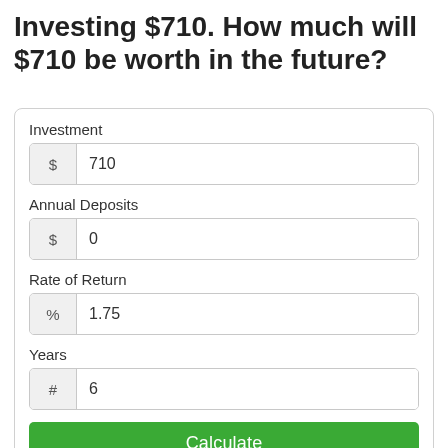Investing $710. How much will $710 be worth in the future?
Investment
$ 710
Annual Deposits
$ 0
Rate of Return
% 1.75
Years
# 6
Calculate